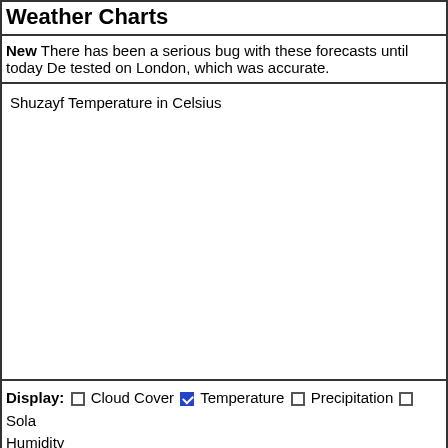Weather Charts
New There has been a serious bug with these forecasts until today De tested on London, which was accurate.
[Figure (other): Empty chart area for Shuzayf Temperature in Celsius]
Display: Cloud Cover Temperature Precipitation Sola Humidity
Time in GMT, not local. Click-drag to zoom,click-click to reset,shift-